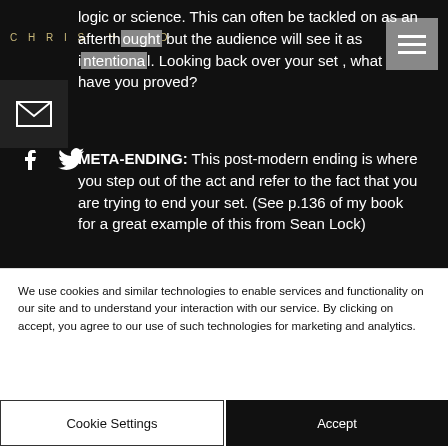CHRIS HEAD
logic or science. This can often be tackled on as an afterth... but the audience will see it as i...l. Looking back over your set , what have you proved?
META-ENDING: This post-modern ending is where you step out of the act and refer to the fact that you are trying to end your set. (See p.136 of my book for a great example of this from Sean Lock)
We use cookies and similar technologies to enable services and functionality on our site and to understand your interaction with our service. By clicking on accept, you agree to our use of such technologies for marketing and analytics.
Cookie Settings
Accept